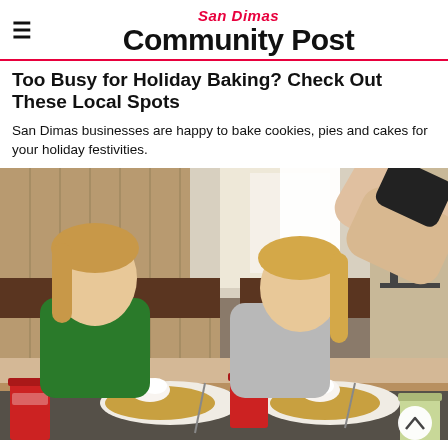San Dimas Community Post
Too Busy for Holiday Baking? Check Out These Local Spots
San Dimas businesses are happy to bake cookies, pies and cakes for your holiday festivities.
[Figure (photo): Two young girls sitting in a restaurant booth eating pancakes with whipped cream, while an adult's arm reaches across to place a dish. Red cups and plates on the table, diner interior in background.]